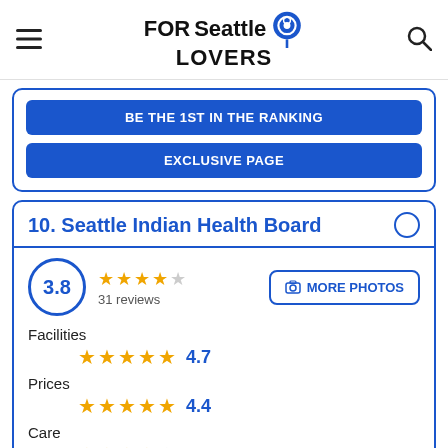FORSeattle LOVERS
BE THE 1ST IN THE RANKING
EXCLUSIVE PAGE
10. Seattle Indian Health Board
3.8 — 31 reviews — MORE PHOTOS
Facilities 4.7
Prices 4.4
Care 4